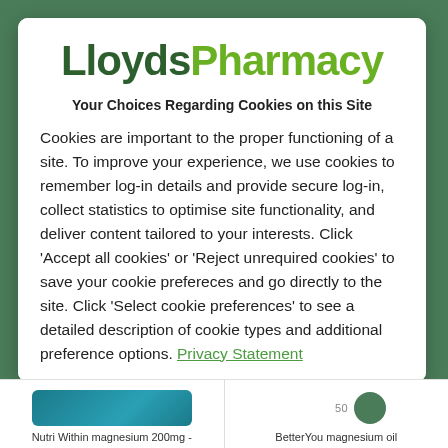[Figure (logo): LloydsPharmacy logo with 'Lloyds' in dark green and 'Pharmacy' in light green, bold sans-serif font]
Your Choices Regarding Cookies on this Site
Cookies are important to the proper functioning of a site. To improve your experience, we use cookies to remember log-in details and provide secure log-in, collect statistics to optimise site functionality, and deliver content tailored to your interests. Click 'Accept all cookies' or 'Reject unrequired cookies' to save your cookie prefereces and go directly to the site. Click 'Select cookie preferences' to see a detailed description of cookie types and additional preference options. Privacy Statement
[Figure (photo): Partial product image: Nutri Within magnesium 200mg product]
[Figure (photo): Partial product image: BetterYou magnesium oil product]
Nutri Within magnesium 200mg -
BetterYou magnesium oil